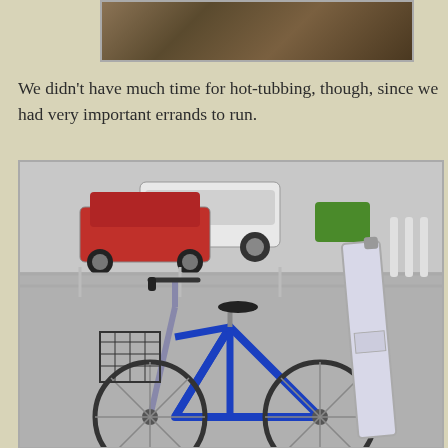[Figure (photo): Partial photo at top of page showing what appears to be a wooden surface or table, cropped]
We didn't have much time for hot-tubbing, though, since we had very important errands to run.
[Figure (photo): Photo of a blue bicycle with a wire basket on the front and an ironing board leaning against it, parked in what appears to be a parking lot. Cars including a red car and a white SUV are visible in the background behind a metal railing.]